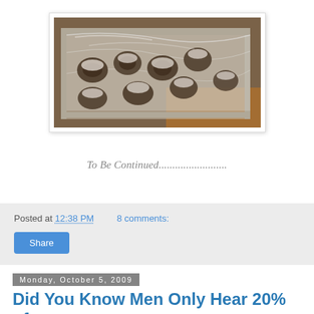[Figure (photo): Photo of a baking tray or container filled with food items, wrapped in plastic, viewed from an angle. The tray appears to have baked goods or food portions inside.]
To Be Continued.........................
Posted at 12:38 PM    8 comments:
Share
Monday, October 5, 2009
Did You Know Men Only Hear 20% of